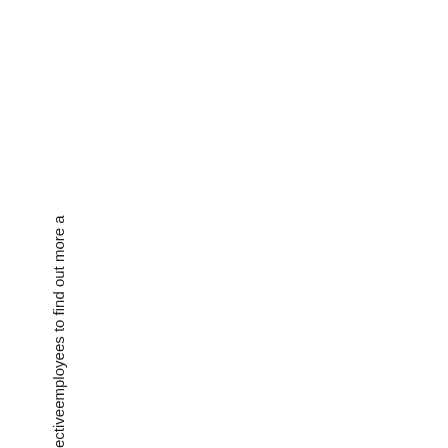ectiveemployees to find out more a